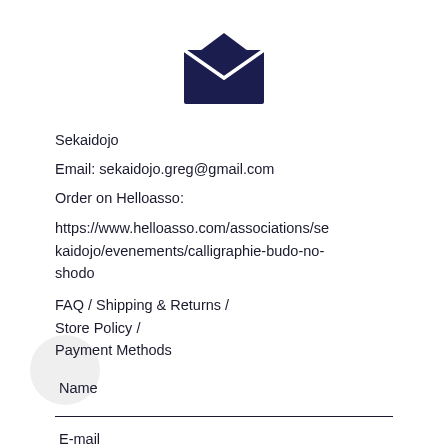[Figure (illustration): Dark navy envelope icon centered at top of page, showing a closed envelope with a V-shaped flap.]
Sekaidojo
Email: sekaidojo.greg@gmail.com
Order on Helloasso:
https://www.helloasso.com/associations/sekaidojo/evenements/calligraphie-budo-no-shodo
FAQ / Shipping & Returns /
Store Policy /
Payment Methods
Name
E-mail